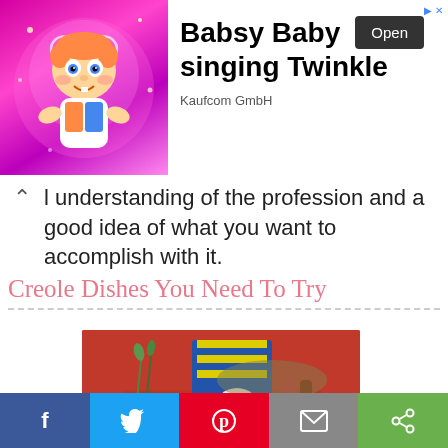[Figure (infographic): Advertisement banner for Babsy Baby singing Twinkle app by Kaufcom GmbH. Left side shows animated baby character on pink/purple background with heart. Right side shows app name, Open button, and publisher name.]
l understanding of the profession and a good idea of what you want to accomplish with it.
Creole Dishes You Need To Try
[Figure (photo): Food photograph showing Creole dishes including bowls of food, bottles of hot sauce, herbs, vegetables, lemon, and a tartan cloth on a red background. Overlaid text reads 'Creole Dishes You Need To Try' with watermark www.momaye.com]
[Figure (infographic): Social media share bar with Facebook (blue), Twitter (light blue), Pinterest (red), email (gray), and share (green) buttons with icons.]